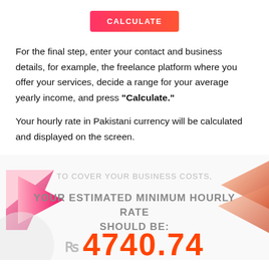[Figure (screenshot): Red/pink gradient Calculate button]
For the final step, enter your contact and business details, for example, the freelance platform where you offer your services, decide a range for your average yearly income, and press "Calculate."
Your hourly rate in Pakistani currency will be calculated and displayed on the screen.
[Figure (infographic): Result banner showing: TO COVER YOUR BUSINESS COSTS, YOUR ESTIMATED MINIMUM HOURLY RATE SHOULD BE: Rs 4740.74 with decorative pink/orange arrow shapes on sides and gray circle]